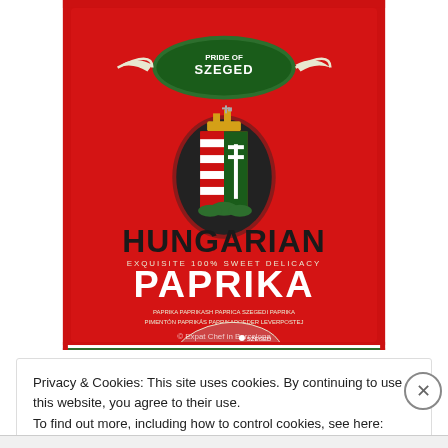[Figure (photo): A red tin/container of Szeged brand Hungarian Paprika. The label shows 'PRIDE OF SZEGED' at the top in a green oval badge, a Hungarian coat of arms emblem in the center, large text reading 'HUNGARIAN' and below it 'PAPRIKA' in white, with 'EXQUISITE 100% SWEET DELICACY' in smaller text. At the bottom is a map of Hungary and the watermark '© Expat Chef in Barcelona'.]
Privacy & Cookies: This site uses cookies. By continuing to use this website, you agree to their use.
To find out more, including how to control cookies, see here: Cookie Policy